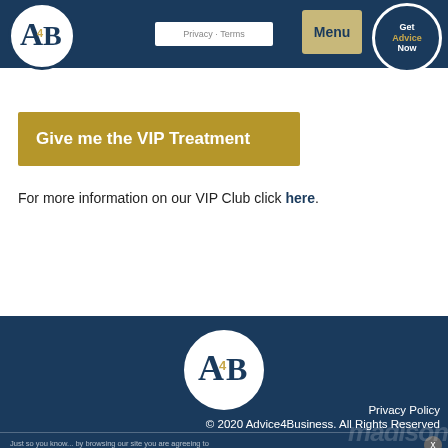A4B — Menu — Get Advice Now — Privacy · Terms
Give me the VIP Treatment
For more information on our VIP Club click here.
[Figure (logo): A4B circular logo in footer]
Privacy Policy
© 2020 Advice4Business. All Rights Reserved
Just so you know... by browsing our site you are agreeing to the use of cookies. Cookies are tiny bits of data your web browser stores to make your online experience better.
Responsive website designed & developed by madison